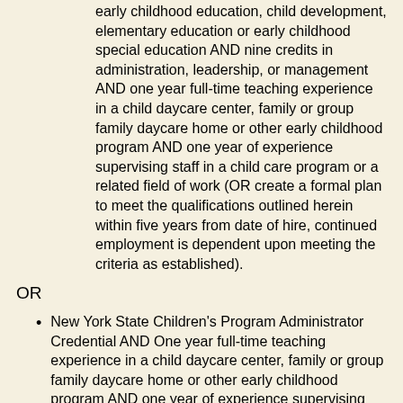early childhood education, child development, elementary education or early childhood special education AND nine credits in administration, leadership, or management AND one year full-time teaching experience in a child daycare center, family or group family daycare home or other early childhood program AND one year of experience supervising staff in a child care program or a related field of work (OR create a formal plan to meet the qualifications outlined herein within five years from date of hire, continued employment is dependent upon meeting the criteria as established).
OR
New York State Children's Program Administrator Credential AND One year full-time teaching experience in a child daycare center, family or group family daycare home or other early childhood program AND one year of experience supervising staff in a child care program or related field of work
OR
Associate's degree in Early Childhood or related field with a plan of study leading to a bachelor's degree; or a